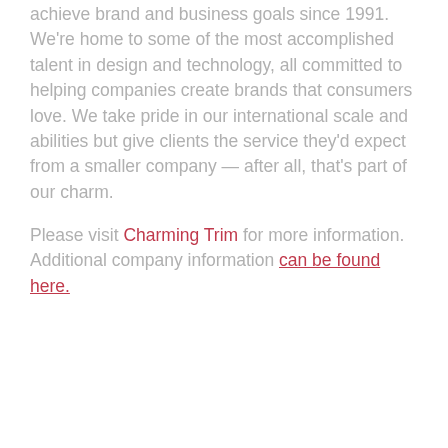knowledge and expertise to help companies achieve brand and business goals since 1991. We're home to some of the most accomplished talent in design and technology, all committed to helping companies create brands that consumers love. We take pride in our international scale and abilities but give clients the service they'd expect from a smaller company — after all, that's part of our charm.
Please visit Charming Trim for more information. Additional company information can be found here.